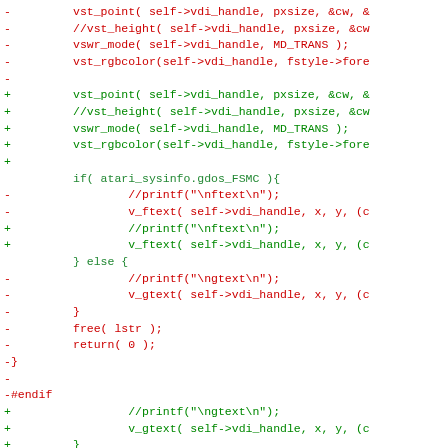Code diff showing removed and added lines in a C source file involving vst_point, vswr_mode, vst_rgbcolor, v_ftext, v_gtext, free, return, and #endif